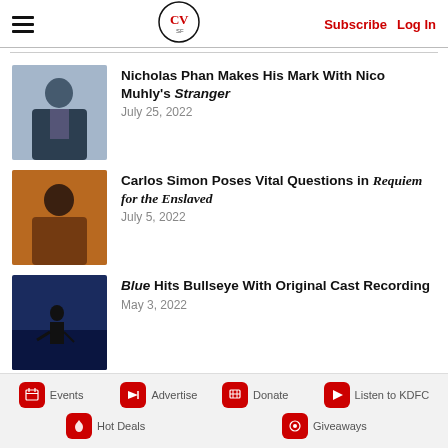CV SF | Subscribe  Log In
Nicholas Phan Makes His Mark With Nico Muhly's Stranger — July 25, 2022
Carlos Simon Poses Vital Questions in Requiem for the Enslaved — July 5, 2022
Blue Hits Bullseye With Original Cast Recording — May 3, 2022
Events  Advertise  Donate  Listen to KDFC  Hot Deals  Giveaways